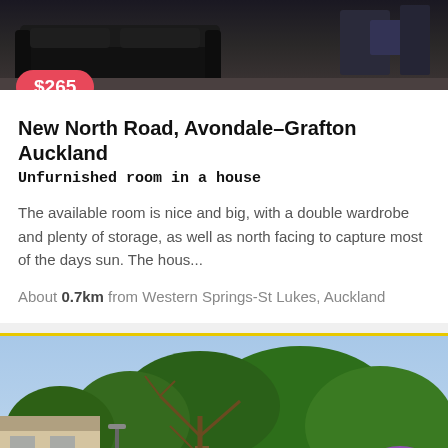[Figure (photo): Dark interior room photo showing black sofa/couch in a dim living area]
$265
New North Road, Avondale-Grafton Auckland
Unfurnished room in a house
The available room is nice and big, with a double wardrobe and plenty of storage, as well as north facing to capture most of the days sun. The hous...
About 0.7km from Western Springs-St Lukes, Auckland
[Figure (photo): Outdoor garden photo showing lush green trees, lawn, and purple flowering bushes with a timber structure/house in background]
Featured
$460
Kitanui Avenue, Mount Albert Auckland